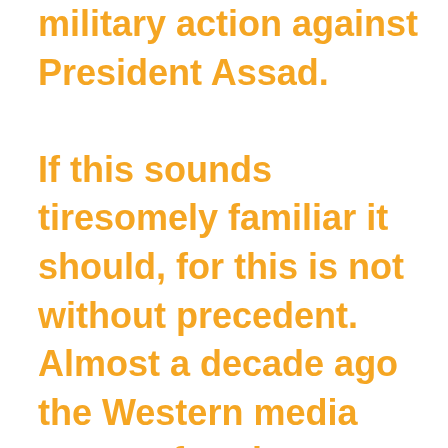military action against President Assad. If this sounds tiresomely familiar it should, for this is not without precedent. Almost a decade ago the Western media was performing a similar routine over Saddam Hussein and his “Weapons of Mass